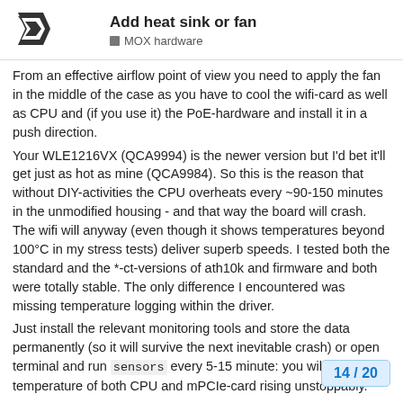Add heat sink or fan
MOX hardware
From an effective airflow point of view you need to apply the fan in the middle of the case as you have to cool the wifi-card as well as CPU and (if you use it) the PoE-hardware and install it in a push direction.
Your WLE1216VX (QCA9994) is the newer version but I'd bet it'll get just as hot as mine (QCA9984). So this is the reason that without DIY-activities the CPU overheats every ~90-150 minutes in the unmodified housing - and that way the board will crash. The wifi will anyway (even though it shows temperatures beyond 100°C in my stress tests) deliver superb speeds. I tested both the standard and the *-ct-versions of ath10k and firmware and both were totally stable. The only difference I encountered was missing temperature logging within the driver.
Just install the relevant monitoring tools and store the data permanently (so it will survive the next inevitable crash) or open terminal and run sensors every 5-15 minute: you will watch the temperature of both CPU and mPCIe-card rising unstoppably.
See links above for combination of 4-PIN-P (Add heat sink or fan - #8 by dadall). Witho
14 / 20